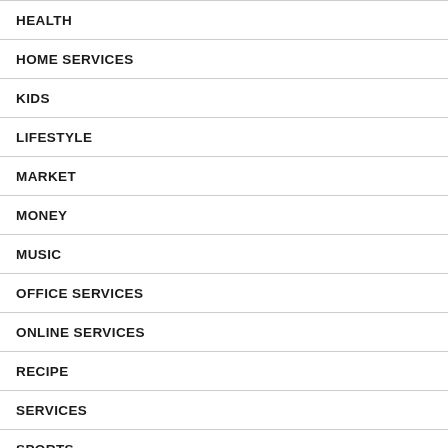HEALTH
HOME SERVICES
KIDS
LIFESTYLE
MARKET
MONEY
MUSIC
OFFICE SERVICES
ONLINE SERVICES
RECIPE
SERVICES
SPORTS